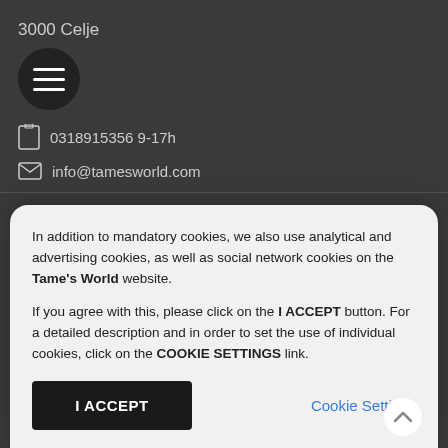3000 Celje
[Figure (other): Hamburger menu button (three horizontal lines) on dark circular background]
0318915356 9-17h
info@tamesworld.com
ABOUT
About us
In addition to mandatory cookies, we also use analytical and advertising cookies, as well as social network cookies on the Tame's World website.

If you agree with this, please click on the I ACCEPT button. For a detailed description and in order to set the use of individual cookies, click on the COOKIE SETTINGS link.